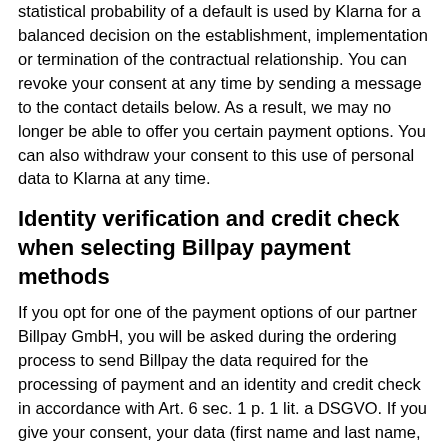statistical probability of a default is used by Klarna for a balanced decision on the establishment, implementation or termination of the contractual relationship. You can revoke your consent at any time by sending a message to the contact details below. As a result, we may no longer be able to offer you certain payment options. You can also withdraw your consent to this use of personal data to Klarna at any time.
Identity verification and credit check when selecting Billpay payment methods
If you opt for one of the payment options of our partner Billpay GmbH, you will be asked during the ordering process to send Billpay the data required for the processing of payment and an identity and credit check in accordance with Art. 6 sec. 1 p. 1 lit. a DSGVO. If you give your consent, your data (first name and last name, street, house number, postal code, city, date of birth, telephone number and, when purchasing by direct debit, the specified account details) as well as the data in connection with your order will be transmitted to Billpay.
For the purpose of its own identity verification and credit worth verification, Billpay or the partner companies commissioned by